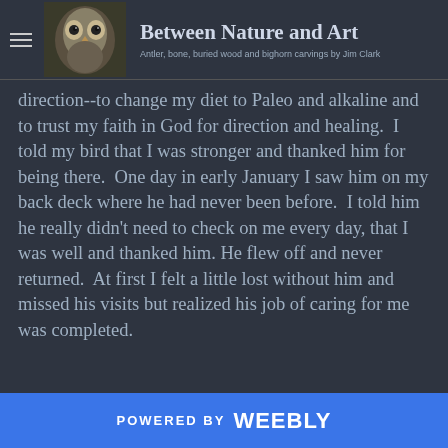Between Nature and Art — Antler, bone, buried wood and bighorn carvings by Jim Clark
direction--to change my diet to Paleo and alkaline and to trust my faith in God for direction and healing.  I told my bird that I was stronger and thanked him for being there.  One day in early January I saw him on my back deck where he had never been before.  I told him he really didn't need to check on me every day, that I was well and thanked him. He flew off and never returned.  At first I felt a little lost without him and missed his visits but realized his job of caring for me was completed.
POWERED BY weebly